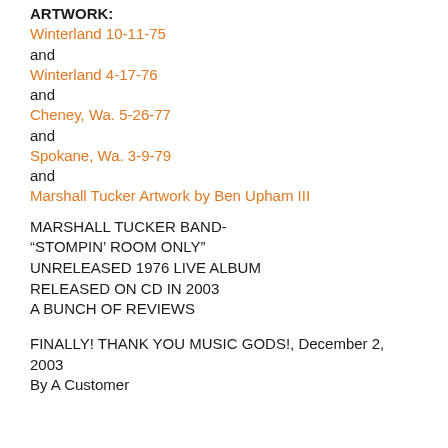ARTWORK:
Winterland 10-11-75
and
Winterland 4-17-76
and
Cheney, Wa. 5-26-77
and
Spokane, Wa. 3-9-79
and
Marshall Tucker Artwork by Ben Upham III
MARSHALL TUCKER BAND-
“STOMPIN’ ROOM ONLY”
UNRELEASED 1976 LIVE ALBUM
RELEASED ON CD IN 2003
A BUNCH OF REVIEWS
FINALLY! THANK YOU MUSIC GODS!, December 2, 2003
By A Customer